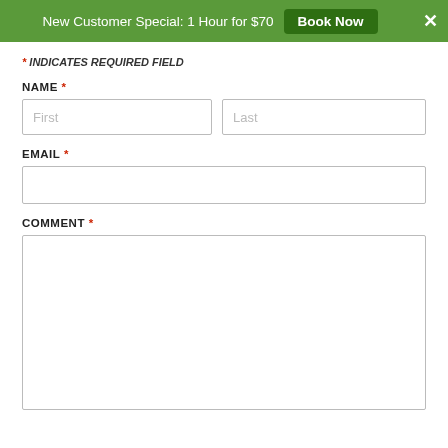New Customer Special: 1 Hour for $70  Book Now  ✕
* INDICATES REQUIRED FIELD
NAME *
First  Last
EMAIL *
COMMENT *